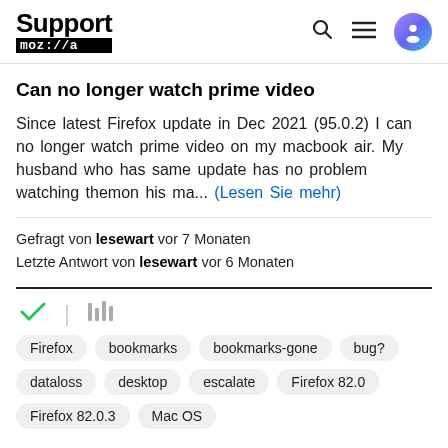Support moz://a
Can no longer watch prime video
Since latest Firefox update in Dec 2021 (95.0.2) I can no longer watch prime video on my macbook air. My husband who has same update has no problem watching themon his ma... (Lesen Sie mehr)
Gefragt von lesewart vor 7 Monaten
Letzte Antwort von lesewart vor 6 Monaten
[Figure (other): Checkmark icon (green) and library/bar icon (gray)]
Firefox
bookmarks
bookmarks-gone
bug?
dataloss
desktop
escalate
Firefox 82.0
Firefox 82.0.3
Mac OS